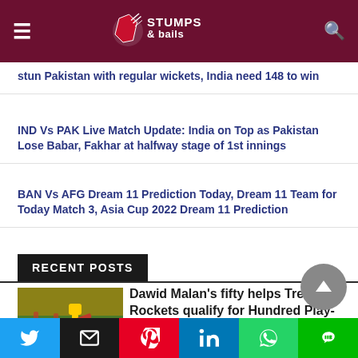Stumps & Bails – navigation header
stun Pakistan with regular wickets, India need 148 to win
IND Vs PAK Live Match Update: India on Top as Pakistan Lose Babar, Fakhar at halfway stage of 1st innings
BAN Vs AFG Dream 11 Prediction Today, Dream 11 Team for Today Match 3, Asia Cup 2022 Dream 11 Prediction
RECENT POSTS
[Figure (photo): Cricket match photo showing batsman playing a shot]
Dawid Malan's fifty helps Trent Rockets qualify for Hundred Play-offs
Trent Rockets have ensured a playoff spot with the 29-run win
Social share bar: Twitter, Email, Pinterest, LinkedIn, WhatsApp, Line